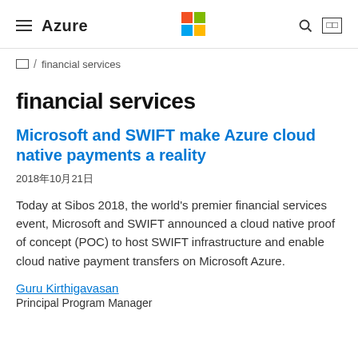≡ Azure  [Microsoft logo]  🔍  □□
□□ / financial services
financial services
Microsoft and SWIFT make Azure cloud native payments a reality
2018年10月21日
Today at Sibos 2018, the world's premier financial services event, Microsoft and SWIFT announced a cloud native proof of concept (POC) to host SWIFT infrastructure and enable cloud native payment transfers on Microsoft Azure.
Guru Kirthigavasan
Principal Program Manager